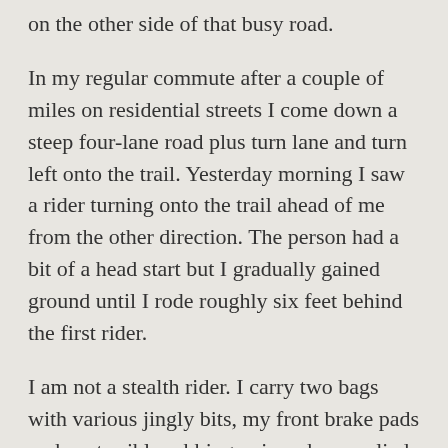on the other side of that busy road.
In my regular commute after a couple of miles on residential streets I come down a steep four-lane road plus turn lane and turn left onto the trail. Yesterday morning I saw a rider turning onto the trail ahead of me from the other direction. The person had a bit of a head start but I gradually gained ground until I rode roughly six feet behind the first rider.
I am not a stealth rider. I carry two bags with various jingly bits, my front brake pads make a terrible rubbing noise when applied that probably indicates I should replace them, I change gears fairly often, I vocalize if I hit a bump. If I'm behind you, you'll know I'm there.
I rode for a full three miles behind the first rider hovering just behind — not close enough to draft, but